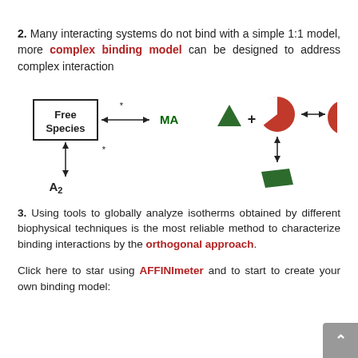2. Many interacting systems do not bind with a simple 1:1 model, more complex binding model can be designed to address complex interaction
[Figure (schematic): Diagram showing Free Species equilibrium with MA (horizontal double arrow with asterisk), and vertical arrow from Free Species to A2. Right side shows: down-pointing triangle + red circle (pac-man shape) with double arrow to red circle with small triangle on top; vertical double arrow pointing down to a green parallelogram shape.]
3. Using tools to globally analyze isotherms obtained by different biophysical techniques is the most reliable method to characterize binding interactions by the orthogonal approach.
Click here to star using AFFINImeter and to start to create your own binding model: